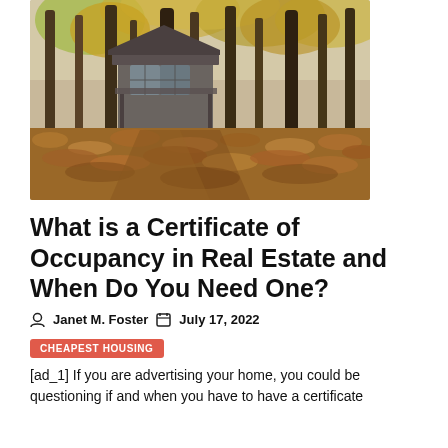[Figure (photo): Autumn forest scene with a small stone cabin/house visible among tall trees, fallen orange and brown leaves covering the ground, bare and leaf-covered tree trunks prominent.]
What is a Certificate of Occupancy in Real Estate and When Do You Need One?
Janet M. Foster   July 17, 2022
CHEAPEST HOUSING
[ad_1] If you are advertising your home, you could be questioning if and when you have to have a certificate